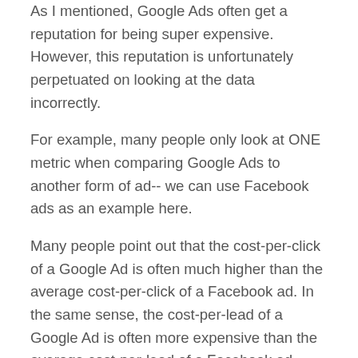As I mentioned, Google Ads often get a reputation for being super expensive. However, this reputation is unfortunately perpetuated on looking at the data incorrectly.
For example, many people only look at ONE metric when comparing Google Ads to another form of ad-- we can use Facebook ads as an example here.
Many people point out that the cost-per-click of a Google Ad is often much higher than the average cost-per-click of a Facebook ad. In the same sense, the cost-per-lead of a Google Ad is often more expensive than the average cost-per-lead of a Facebook ad.